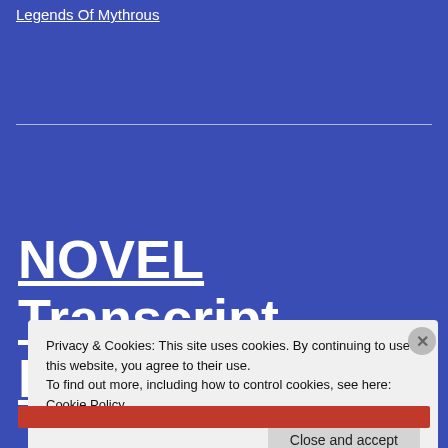Legends Of Mythrous
NOVEL Transcript Reading: How To Buy A
Privacy & Cookies: This site uses cookies. By continuing to use this website, you agree to their use.
To find out more, including how to control cookies, see here: Cookie Policy
Close and accept